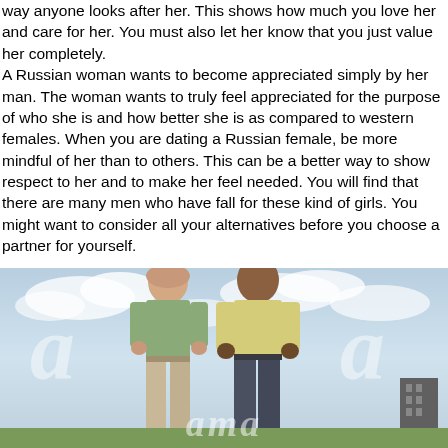way anyone looks after her. This shows how much you love her and care for her. You must also let her know that you just value her completely.
A Russian woman wants to become appreciated simply by her man. The woman wants to truly feel appreciated for the purpose of who she is and how better she is as compared to western females. When you are dating a Russian female, be more mindful of her than to others. This can be a better way to show respect to her and to make her feel needed. You will find that there are many men who have fall for these kind of girls. You might want to consider all your alternatives before you choose a partner for yourself.
[Figure (photo): Two men standing together outdoors. One wearing a green long-sleeve shirt with khaki pants, the other wearing a yellow long-sleeve shirt with dark pants. Sky with clouds in background. Watermark letters 'a' visible on left and right sides. Bottom watermark text partially visible.]